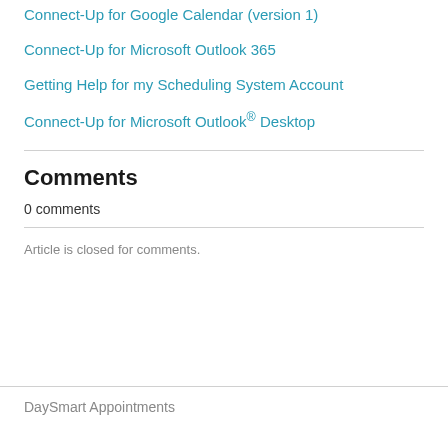Connect-Up for Google Calendar (version 1)
Connect-Up for Microsoft Outlook 365
Getting Help for my Scheduling System Account
Connect-Up for Microsoft Outlook® Desktop
Comments
0 comments
Article is closed for comments.
DaySmart Appointments